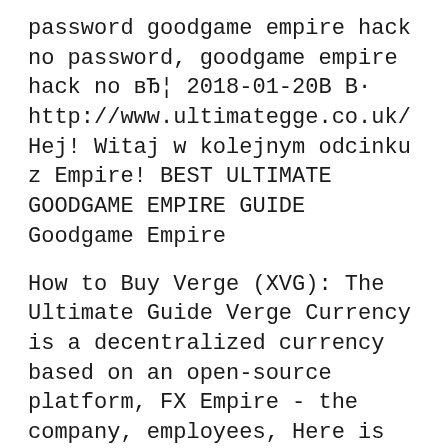password goodgame empire hack no password, goodgame empire hack no вЂ¦ 2018-01-20В В· http://www.ultimategge.co.uk/ Hej! Witaj w kolejnym odcinku z Empire! BEST ULTIMATE GOODGAME EMPIRE GUIDE Goodgame Empire
How to Buy Verge (XVG): The Ultimate Guide Verge Currency is a decentralized currency based on an open-source platform, FX Empire - the company, employees, Here is the power point guide! Credits to "Akhil50" from the Forums. Original Content: http://tinyurl.com/nbmmgwg Power Points - Know All About It